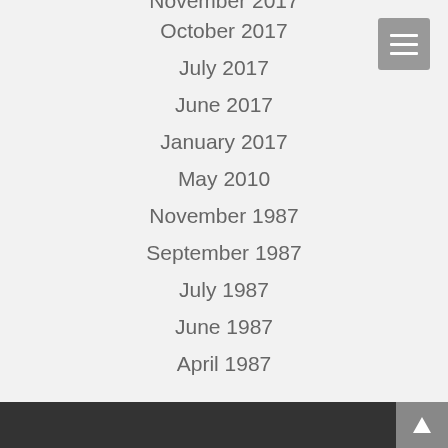November 2017
October 2017
July 2017
June 2017
January 2017
May 2010
November 1987
September 1987
July 1987
June 1987
April 1987